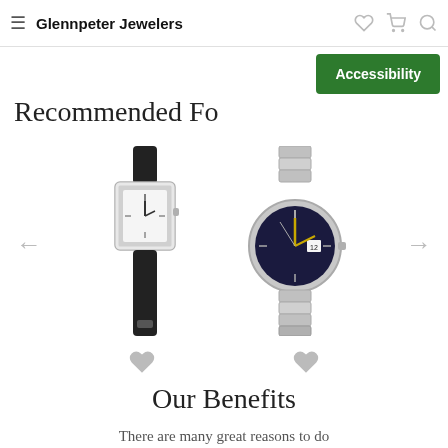Glennpeter Jewelers
Accessibility
Recommended Fo
[Figure (photo): Two watches displayed: left is a square-faced women's watch with diamond bezel and black leather strap; right is a round men's watch with blue dial and silver metal bracelet. Left and right navigation arrows are shown beside the watches.]
Our Benefits
There are many great reasons to do